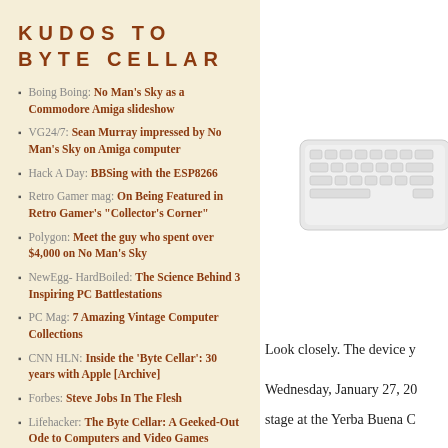KUDOS TO BYTE CELLAR
Boing Boing: No Man's Sky as a Commodore Amiga slideshow
VG24/7: Sean Murray impressed by No Man's Sky on Amiga computer
Hack A Day: BBSing with the ESP8266
Retro Gamer mag: On Being Featured in Retro Gamer's "Collector's Corner"
Polygon: Meet the guy who spent over $4,000 on No Man's Sky
NewEgg- HardBoiled: The Science Behind 3 Inspiring PC Battlestations
PC Mag: 7 Amazing Vintage Computer Collections
CNN HLN: Inside the 'Byte Cellar': 30 years with Apple [Archive]
Forbes: Steve Jobs In The Flesh
Lifehacker: The Byte Cellar: A Geeked-Out Ode to Computers and Video Games
Engadget: Blake Patterson's
[Figure (photo): Partial image of a white Apple keyboard on right side of page]
Look closely. The device y
Wednesday, January 27, 20
stage at the Yerba Buena C